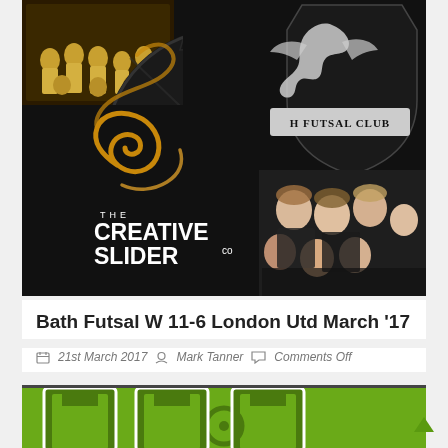[Figure (photo): Collage image showing Bath Futsal Club: top-left shows women's team in yellow kit, top-right shows the Bath Futsal Club crest/logo on dark background, bottom-left shows 'The Creative Slider Co' logo with golden swirl on dark background, bottom-right shows women's team selfie in dark kit.]
Bath Futsal W 11-6 London Utd March '17
21st March 2017  Mark Tanner  Comments Off
[Figure (photo): Green background image with dark green stylized football/futsal pitch or shirt design with large block letters, partially visible at bottom of page.]